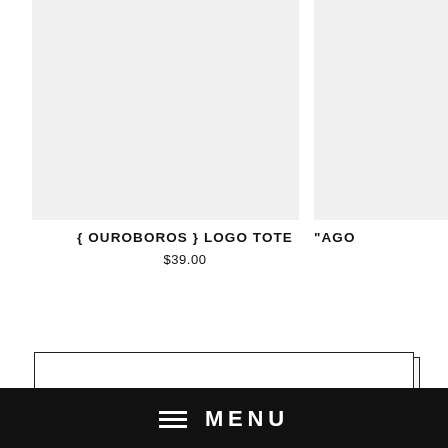[Figure (photo): Product image placeholder for { OUROBOROS } LOGO TOTE, light gray background]
{ OUROBOROS } LOGO TOTE
$39.00
[Figure (photo): Partial product image placeholder, light gray background, partially cropped on right side]
"AGO
[Figure (screenshot): Mobile menu bar with hamburger icon and MENU text on black background, social media icons below]
MENU